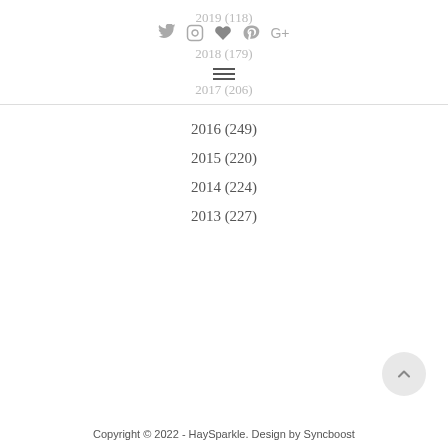Social icons navigation bar with Twitter, Instagram, Heart/Like, Pinterest, Google+
2019 (118)
2018 (179)
2017 (206)
2016 (249)
2015 (220)
2014 (224)
2013 (227)
Copyright © 2022 - HaySparkle. Design by Syncboost